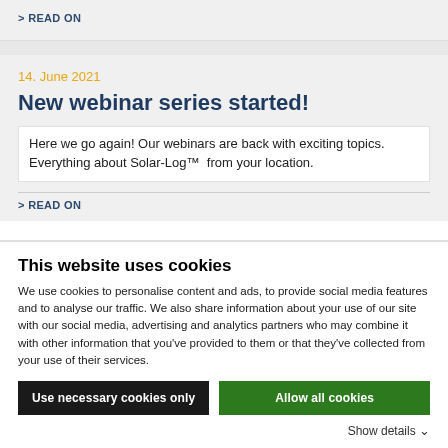> READ ON
14. June 2021
New webinar series started!
Here we go again! Our webinars are back with exciting topics. Everything about Solar-Log™  from your location.
> READ ON
This website uses cookies
We use cookies to personalise content and ads, to provide social media features and to analyse our traffic. We also share information about your use of our site with our social media, advertising and analytics partners who may combine it with other information that you've provided to them or that they've collected from your use of their services.
Use necessary cookies only
Allow all cookies
Show details